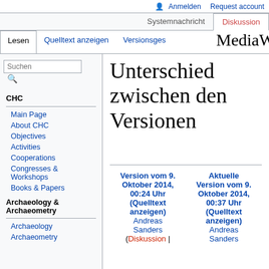Anmelden  Request account
Systemnachricht  Diskussion
Lesen  Quelltext anzeigen  Versionsges…
MediaWiki:Monobook Unterschied zwischen den Versionen
Version vom 9. Oktober 2014, 00:24 Uhr (Quelltext anzeigen)
Andreas Sanders
(Diskussion |
Aktuelle Version vom 9. Oktober 2014, 00:37 Uhr (Quelltext anzeigen)
Andreas Sanders
Main Page
About CHC
Objectives
Activities
Cooperations
Congresses & Workshops
Books & Papers
Archaeology
Archaeometry